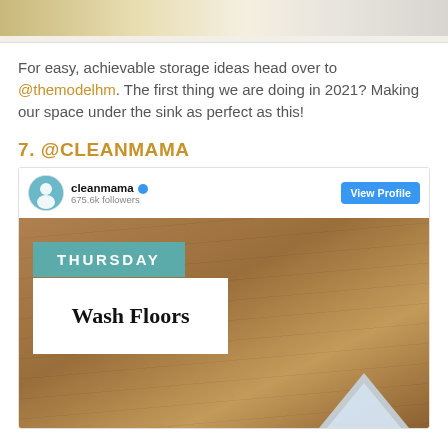[Figure (photo): Top portion of a cabinet/drawer organization photo, cropped at top of page]
For easy, achievable storage ideas head over to @themodelhm. The first thing we are doing in 2021? Making our space under the sink as perfect as this!
7. @CLEANMAMA
[Figure (screenshot): Instagram post from cleanmama with 675.6k followers showing a 'THURSDAY - Wash Floors' graphic on a wood floor background, with a View Profile button]